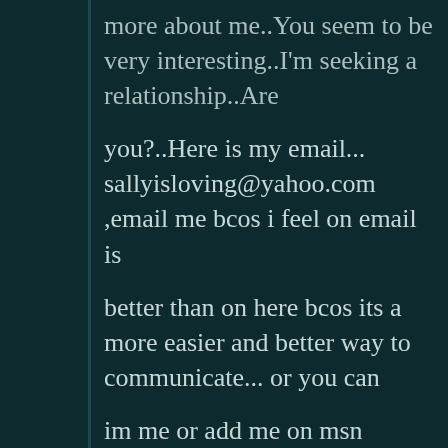more about me..You seem to be very interesting..I'm seeking a relationship..Are
you?..Here is my email... sallyisloving@yahoo.com ,email me bcos i feel on email is
better than on here bcos its a more easier and better way to communicate... or you can
im me or add me on msn messenger ...I would be waiting to hear from you as soon as